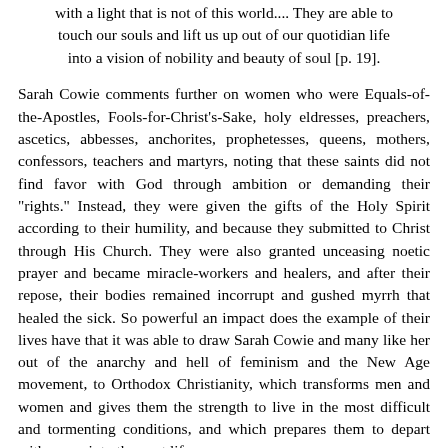with a light that is not of this world.... They are able to touch our souls and lift us up out of our quotidian life into a vision of nobility and beauty of soul [p. 19].
Sarah Cowie comments further on women who were Equals-of-the-Apostles, Fools-for-Christ's-Sake, holy eldresses, preachers, ascetics, abbesses, anchorites, prophetesses, queens, mothers, confessors, teachers and martyrs, noting that these saints did not find favor with God through ambition or demanding their "rights." Instead, they were given the gifts of the Holy Spirit according to their humility, and because they submitted to Christ through His Church. They were also granted unceasing noetic prayer and became miracle-workers and healers, and after their repose, their bodies remained incorrupt and gushed myrrh that healed the sick. So powerful an impact does the example of their lives have that it was able to draw Sarah Cowie and many like her out of the anarchy and hell of feminism and the New Age movement, to Orthodox Christianity, which transforms men and women and gives them the strength to live in the most difficult and tormenting conditions, and which prepares them to depart with peace into the next life.
Although women have been greatly mistreated in this sinful world, this book does not do the same through its use of traditional language. It bears emphasizing that in no way does this work